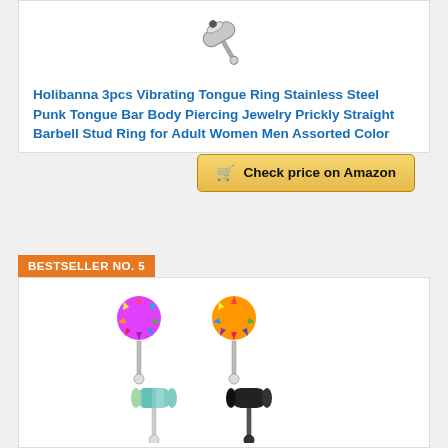[Figure (photo): Product photo of a stainless steel vibrating tongue ring barbell stud, silver metallic, shown from above on white background]
Holibanna 3pcs Vibrating Tongue Ring Stainless Steel Punk Tongue Bar Body Piercing Jewelry Prickly Straight Barbell Stud Ring for Adult Women Men Assorted Color
Check price on Amazon
BESTSELLER NO. 5
[Figure (photo): Product photo showing four colorful vibrating tongue ring options: a pink/multicolor spiky pom-pom style, a rainbow spiky style, a holographic/teal barrel style, and a black barrel style, each on a barbell post]